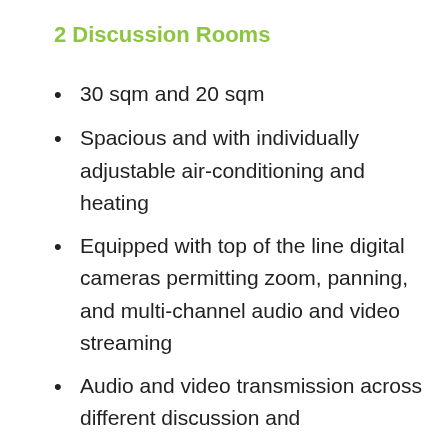2 Discussion Rooms
30 sqm and 20 sqm
Spacious and with individually adjustable air-conditioning and heating
Equipped with top of the line digital cameras permitting zoom, panning, and multi-channel audio and video streaming
Audio and video transmission across different discussion and